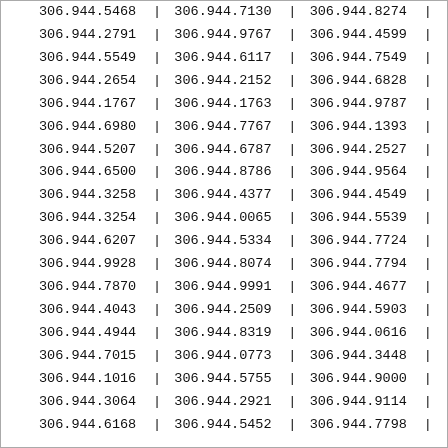| Col1 | Col2 | Col3 |
| --- | --- | --- |
| 306.944.5468 | 306.944.7130 | 306.944.8274 |
| 306.944.2791 | 306.944.9767 | 306.944.4599 |
| 306.944.5549 | 306.944.6117 | 306.944.7549 |
| 306.944.2654 | 306.944.2152 | 306.944.6828 |
| 306.944.1767 | 306.944.1763 | 306.944.9787 |
| 306.944.6980 | 306.944.7767 | 306.944.1393 |
| 306.944.5207 | 306.944.6787 | 306.944.2527 |
| 306.944.6500 | 306.944.8786 | 306.944.9564 |
| 306.944.3258 | 306.944.4377 | 306.944.4549 |
| 306.944.3254 | 306.944.0065 | 306.944.5539 |
| 306.944.6207 | 306.944.5334 | 306.944.7724 |
| 306.944.9928 | 306.944.8074 | 306.944.7794 |
| 306.944.7870 | 306.944.9991 | 306.944.4677 |
| 306.944.4043 | 306.944.2509 | 306.944.5903 |
| 306.944.4944 | 306.944.8319 | 306.944.0616 |
| 306.944.7015 | 306.944.0773 | 306.944.3448 |
| 306.944.1016 | 306.944.5755 | 306.944.9000 |
| 306.944.3064 | 306.944.2921 | 306.944.9114 |
| 306.944.6168 | 306.944.5452 | 306.944.7798 |